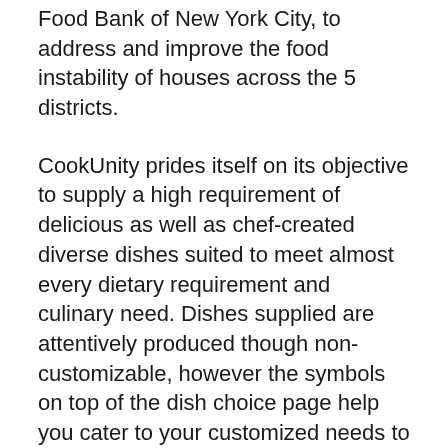Food Bank of New York City, to address and improve the food instability of houses across the 5 districts.
CookUnity prides itself on its objective to supply a high requirement of delicious as well as chef-created diverse dishes suited to meet almost every dietary requirement and culinary need. Dishes supplied are attentively produced though non-customizable, however the symbols on top of the dish choice page help you cater to your customized needs to decide if you desire low salt, vegan, keto, paleo, and gluten-free, to name a few choices. We laid out to figure out if this interesting dish solution can provide on its pledge.